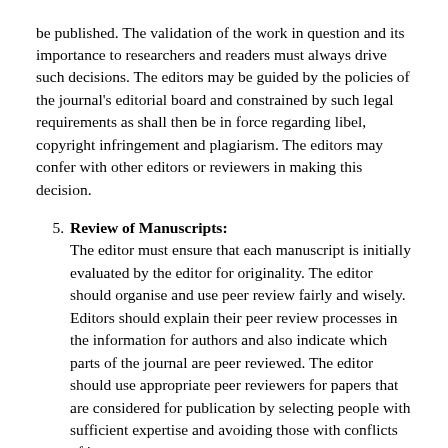be published. The validation of the work in question and its importance to researchers and readers must always drive such decisions. The editors may be guided by the policies of the journal's editorial board and constrained by such legal requirements as shall then be in force regarding libel, copyright infringement and plagiarism. The editors may confer with other editors or reviewers in making this decision.
5. Review of Manuscripts: The editor must ensure that each manuscript is initially evaluated by the editor for originality. The editor should organise and use peer review fairly and wisely. Editors should explain their peer review processes in the information for authors and also indicate which parts of the journal are peer reviewed. The editor should use appropriate peer reviewers for papers that are considered for publication by selecting people with sufficient expertise and avoiding those with conflicts of interest.